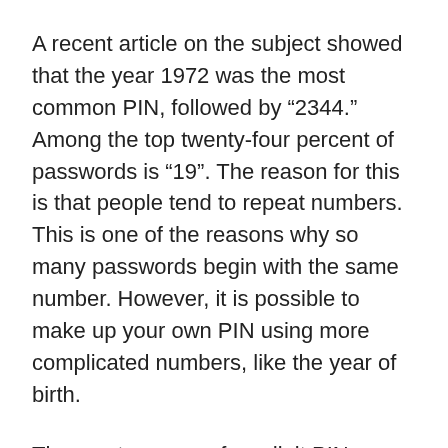A recent article on the subject showed that the year 1972 was the most common PIN, followed by ‘2344.’ Among the top twenty-four percent of passwords is ‘19”. The reason for this is that people tend to repeat numbers. This is one of the reasons why so many passwords begin with the same number. However, it is possible to make up your own PIN using more complicated numbers, like the year of birth.
The most common four-digit PINs are those that begin with the number 19 and are at least eight ten digits long. These are not only difficult to guess, but are also relatively easy to remember. Besides, a four-digit PIN is easier to keep than a five-digit one. But it is still better than using the same PIN over again.
According to the Data Genetics blog, four-digit PIN